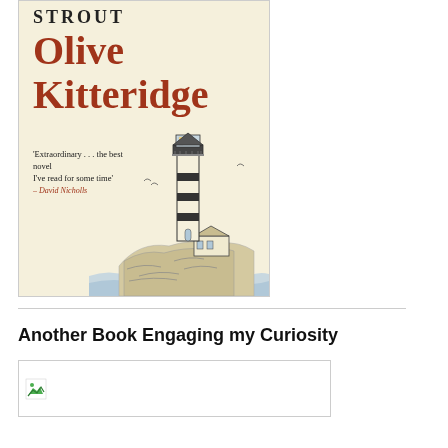[Figure (illustration): Book cover of 'Olive Kitteridge' by Elizabeth Strout. Cream/beige background with large red title text 'Olive Kitteridge', author name 'STROUT' at top in black serif font, a quote 'Extraordinary... the best novel I've read for some time' - David Nicholls in black and red italic, and a pen-and-ink illustration of a lighthouse on a rocky cliff by the sea.]
Another Book Engaging my Curiosity
[Figure (illustration): Broken/missing image placeholder icon (small green arrow icon in top-left corner of a bordered rectangle).]